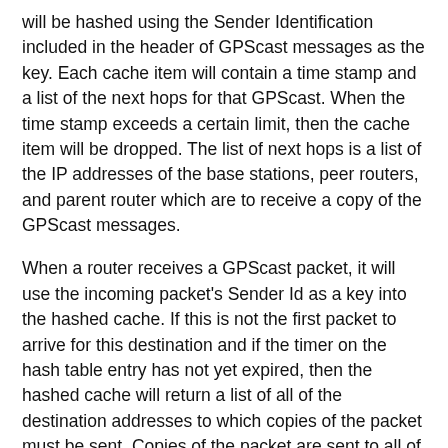will be hashed using the Sender Identification included in the header of GPScast messages as the key. Each cache item will contain a time stamp and a list of the next hops for that GPScast. When the time stamp exceeds a certain limit, then the cache item will be dropped. The list of next hops is a list of the IP addresses of the base stations, peer routers, and parent router which are to receive a copy of the GPScast messages.
When a router receives a GPScast packet, it will use the incoming packet's Sender Id as a key into the hashed cache. If this is not the first packet to arrive for this destination and if the timer on the hash table entry has not yet expired, then the hashed cache will return a list of all of the destination addresses to which copies of the packet must be sent. Copies of the packet are sent to all of these destinations and the hash entry's time stamp is updated.
If no hash table entry is found (i.e.- this is the first packet encountered for this destination address), then the normal geometry checking routine would take over. A new cache